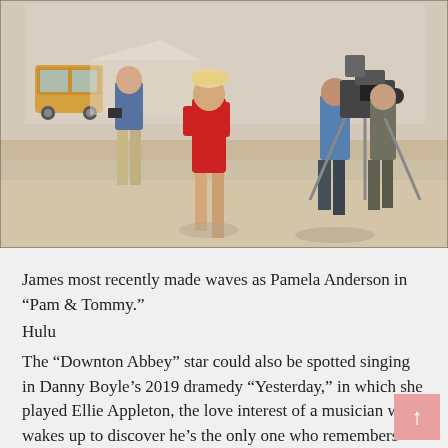[Figure (photo): Behind-the-scenes beach photo showing a woman in a red swimsuit walking on sand, flanked by film crew with camera equipment. A vintage VW bus is visible in the background.]
James most recently made waves as Pamela Anderson in “Pam & Tommy.”
Hulu
The “Downton Abbey” star could also be spotted singing in Danny Boyle’s 2019 dramedy “Yesterday,” in which she played Ellie Appleton, the love interest of a musician who wakes up to discover he’s the only one who remembers The